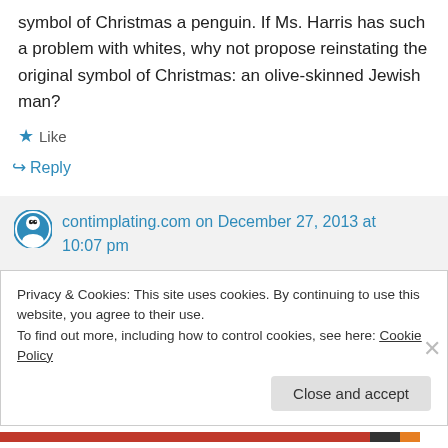symbol of Christmas a penguin. If Ms. Harris has such a problem with whites, why not propose reinstating the original symbol of Christmas: an olive-skinned Jewish man?
Like
Reply
contimplating.com on December 27, 2013 at 10:07 pm
Privacy & Cookies: This site uses cookies. By continuing to use this website, you agree to their use.
To find out more, including how to control cookies, see here: Cookie Policy
Close and accept